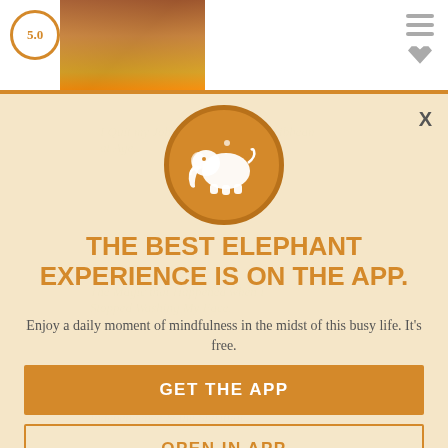[Figure (screenshot): Top website header bar with rating circle showing 5.0, a photo of a person, and a hamburger/heart icon on the right]
[Figure (logo): Orange circle with white elephant silhouette logo for Elephant Journal app]
THE BEST ELEPHANT EXPERIENCE IS ON THE APP.
Enjoy a daily moment of mindfulness in the midst of this busy life. It's free.
GET THE APP
OPEN IN APP